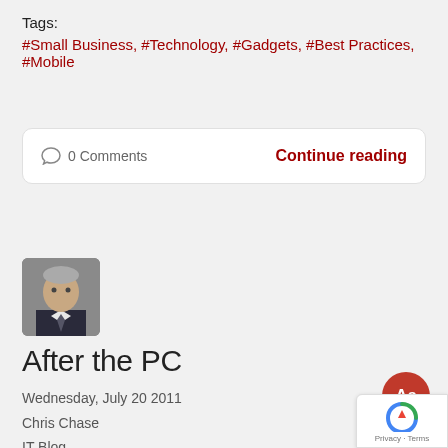Tags:
#Small Business, #Technology, #Gadgets, #Best Practices, #Mobile
0 Comments    Continue reading
[Figure (photo): Author avatar photo of a man in a suit]
After the PC
Wednesday, July 20 2011
Chris Chase
IT Blog
[Figure (photo): Hands holding and using a black smartphone]